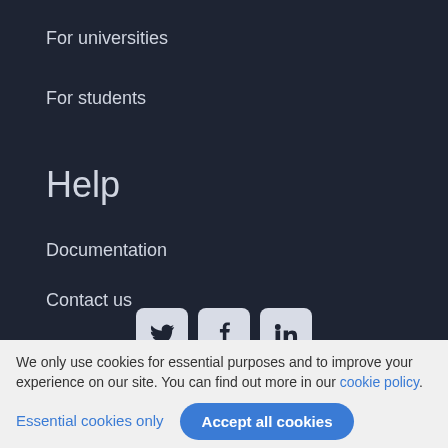For universities
For students
Help
Documentation
Contact us
Website status
[Figure (other): Social media icons: Twitter, Facebook, LinkedIn]
We only use cookies for essential purposes and to improve your experience on our site. You can find out more in our cookie policy.
Essential cookies only   Accept all cookies